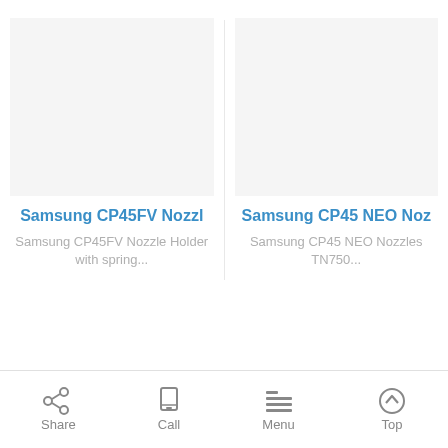[Figure (screenshot): Product listing showing two Samsung nozzle products side by side with blank image placeholders]
Samsung CP45FV Nozzl
Samsung CP45FV Nozzle Holder with spring...
Samsung CP45 NEO Noz
Samsung CP45 NEO Nozzles TN750...
Share  Call  Menu  Top